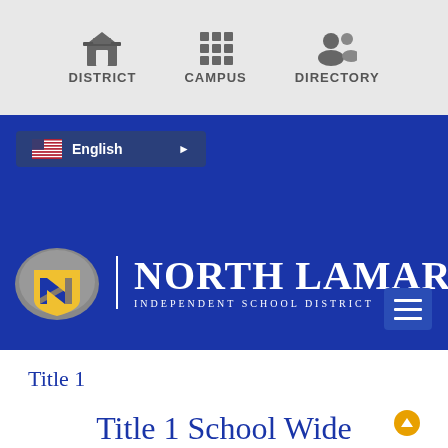[Figure (screenshot): Website navigation bar with icons for DISTRICT, CAMPUS, and DIRECTORY on a light gray background]
[Figure (screenshot): North Lamar Independent School District blue banner with English language selector, school logo with NL letters, school name in white text, and hamburger menu button]
Title 1
Title 1 School Wide Program